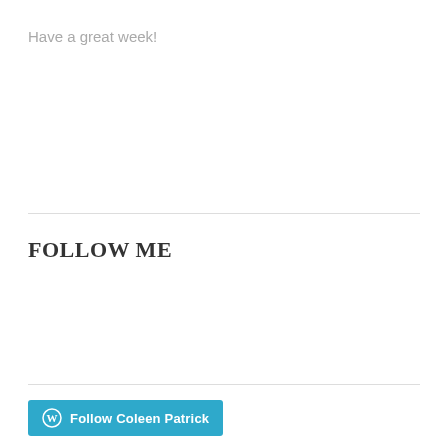Have a great week!
FOLLOW ME
[Figure (other): Follow Coleen Patrick button with WordPress logo icon]